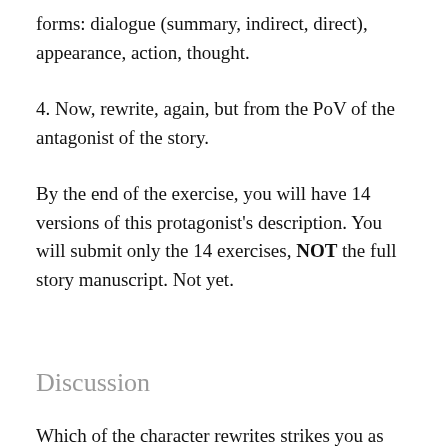forms: dialogue (summary, indirect, direct), appearance, action, thought.
4. Now, rewrite, again, but from the PoV of the antagonist of the story.
By the end of the exercise, you will have 14 versions of this protagonist's description. You will submit only the 14 exercises, NOT the full story manuscript. Not yet.
Discussion
Which of the character rewrites strikes you as most organic to not only the narrative but also your voice? Which feels more right? Did any of the rewrites give you additional information you may have already suspected